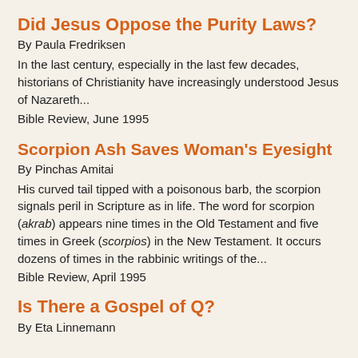Did Jesus Oppose the Purity Laws?
By Paula Fredriksen
In the last century, especially in the last few decades, historians of Christianity have increasingly understood Jesus of Nazareth...
Bible Review, June 1995
Scorpion Ash Saves Woman’s Eyesight
By Pinchas Amitai
His curved tail tipped with a poisonous barb, the scorpion signals peril in Scripture as in life. The word for scorpion (akrab) appears nine times in the Old Testament and five times in Greek (scorpios) in the New Testament. It occurs dozens of times in the rabbinic writings of the...
Bible Review, April 1995
Is There a Gospel of Q?
By Eta Linnemann